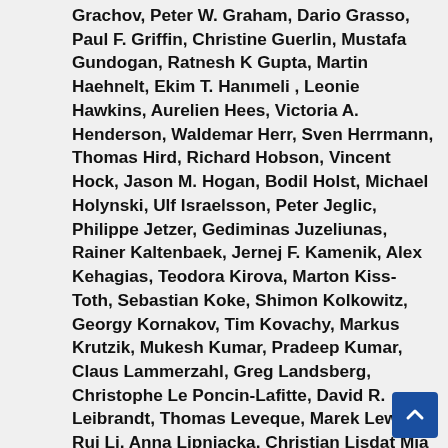Grachov, Peter W. Graham, Dario Grasso, Paul F. Griffin, Christine Guerlin, Mustafa Gundogan, Ratnesh K Gupta, Martin Haehnelt, Ekim T. Hanımeli , Leonie Hawkins, Aurelien Hees, Victoria A. Henderson, Waldemar Herr, Sven Herrmann, Thomas Hird, Richard Hobson, Vincent Hock, Jason M. Hogan, Bodil Holst, Michael Holynski, Ulf Israelsson, Peter Jeglic, Philippe Jetzer, Gediminas Juzeliunas, Rainer Kaltenbaek, Jernej F. Kamenik, Alex Kehagias, Teodora Kirova, Marton Kiss-Toth, Sebastian Koke, Shimon Kolkowitz, Georgy Kornakov, Tim Kovachy, Markus Krutzik, Mukesh Kumar, Pradeep Kumar, Claus Lammerzahl, Greg Landsberg, Christophe Le Poncin-Lafitte, David R. Leibrandt, Thomas Leveque, Marek Lewicki, Rui Li, Anna Lipniacka, Christian Lisdat Mia Liu, J. L. Lopez-Gonzalez, Sina Loriani, Jorma Louko, Giuseppe Gaetano Luciano, Nathan Lundblad, Steve Maddox, M. A. Mahmoud, Azadeh Maleknejad, John March-Russell, Didier Massonnet, Christopher McCabe, Matthias Meister, Tadej Meznarsic, Salvatore Micalizio, Federica Migliaccio, Peter Millington, Milan Milosevic, Jeremiah Mitchell, Gavin W. Morley, Jurgen Muller, Eamonn